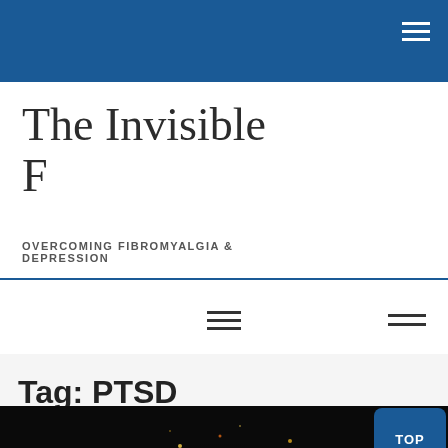The Invisible F — OVERCOMING FIBROMYALGIA & DEPRESSION
The Invisible F
OVERCOMING FIBROMYALGIA & DEPRESSION
Tag: PTSD
[Figure (photo): Dark background with orange fire/sparks bokeh image used as article thumbnail]